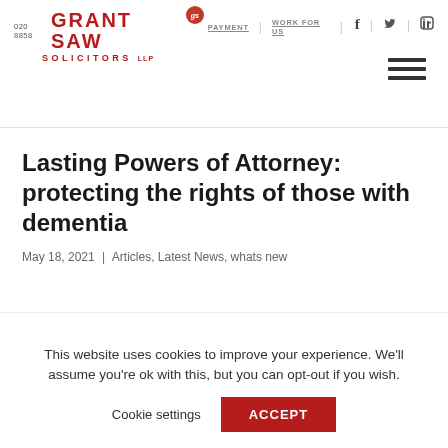020 8858 | GRANT SAW SOLICITORS LLP | PAYMENT | WORK FOR US
Lasting Powers of Attorney: protecting the rights of those with dementia
May 18, 2021 | Articles, Latest News, whats new
This website uses cookies to improve your experience. We'll assume you're ok with this, but you can opt-out if you wish.
Cookie settings  ACCEPT